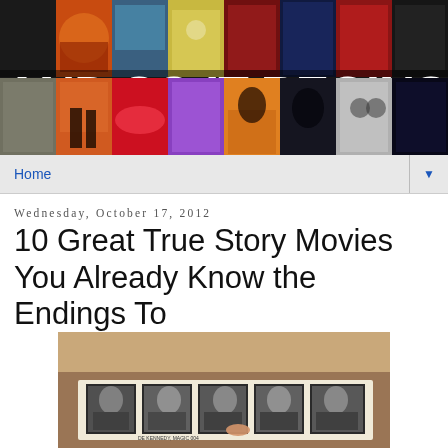[Figure (photo): Blog banner header with photo mosaic grid and overlaid bold white text reading AND SO IT BEGINS...]
Home
Wednesday, October 17, 2012
10 Great True Story Movies You Already Know the Endings To
[Figure (photo): Photograph showing a strip of black-and-white ID/mugshot style photos of several men laid on a table, with a finger pointing at one of them]